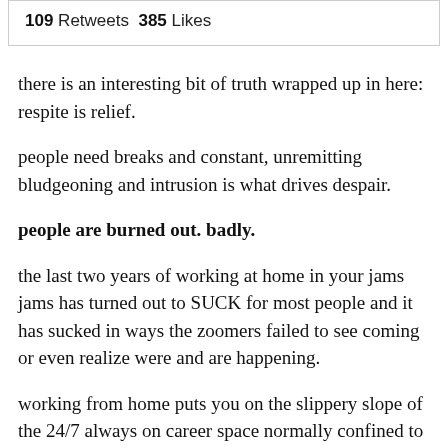109 Retweets  385 Likes
there is an interesting bit of truth wrapped up in here: respite is relief.
people need breaks and constant, unremitting bludgeoning and intrusion is what drives despair.
people are burned out. badly.
the last two years of working at home in your jams jams has turned out to SUCK for most people and it has sucked in ways the zoomers failed to see coming or even realize were and are happening.
working from home puts you on the slippery slope of the 24/7 always on career space normally confined to the point of the investment, legal, and start up spaces